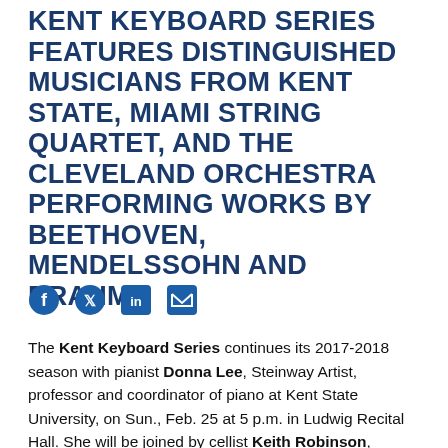KENT KEYBOARD SERIES FEATURES DISTINGUISHED MUSICIANS FROM KENT STATE, MIAMI STRING QUARTET, AND THE CLEVELAND ORCHESTRA PERFORMING WORKS BY BEETHOVEN, MENDELSSOHN AND BRAHMS
[Figure (other): Social media share icons: Facebook, Twitter, LinkedIn, Email]
The Kent Keyboard Series continues its 2017-2018 season with pianist Donna Lee, Steinway Artist, professor and coordinator of piano at Kent State University, on Sun., Feb. 25 at 5 p.m. in Ludwig Recital Hall. She will be joined by cellist Keith Robinson, founding member of the Miami String Quartet, and clarinetist Robert Woolfrey, member of The Cleveland Orchestra. Tickets are available in